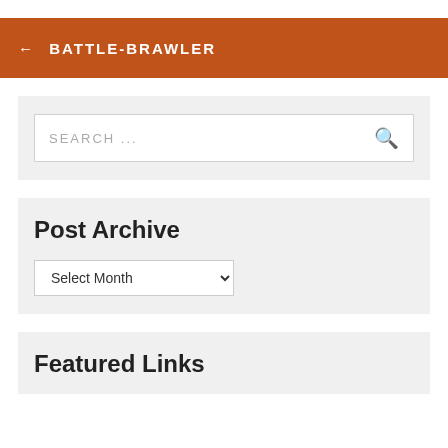← BATTLE-BRAWLER
SEARCH ...
Post Archive
Select Month
Featured Links